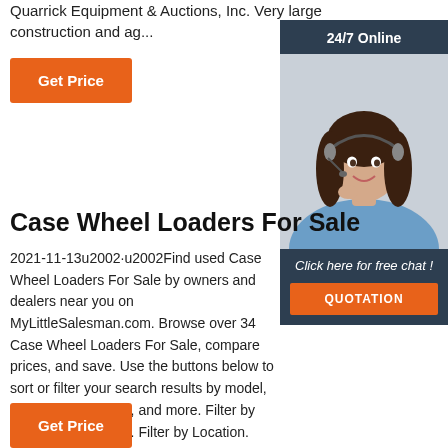Quarrick Equipment & Auctions, Inc. Very large construction and ag...
Get Price
[Figure (photo): 24/7 Online customer service representative - woman with headset smiling, with 'Click here for free chat!' text and QUOTATION button]
Case Wheel Loaders For Sale
2021-11-13u2002·u2002Find used Case Wheel Loaders For Sale by owners and dealers near you on MyLittleSalesman.com. Browse over 34 Case Wheel Loaders For Sale, compare prices, and save. Use the buttons below to sort or filter your search results by model, year, price, location, and more. Filter by Price. Filter by Year. Filter by Location.
Get Price